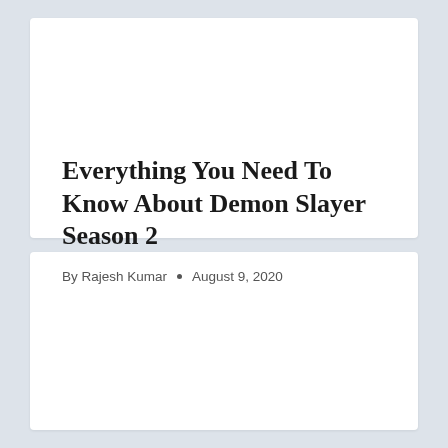Everything You Need To Know About Demon Slayer Season 2
By Rajesh Kumar • August 9, 2020